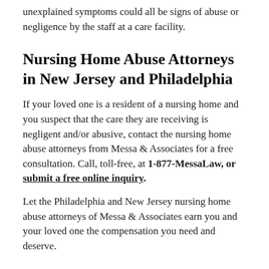unexplained symptoms could all be signs of abuse or negligence by the staff at a care facility.
Nursing Home Abuse Attorneys in New Jersey and Philadelphia
If your loved one is a resident of a nursing home and you suspect that the care they are receiving is negligent and/or abusive, contact the nursing home abuse attorneys from Messa & Associates for a free consultation. Call, toll-free, at 1-877-MessaLaw, or submit a free online inquiry.
Let the Philadelphia and New Jersey nursing home abuse attorneys of Messa & Associates earn you and your loved one the compensation you need and deserve.